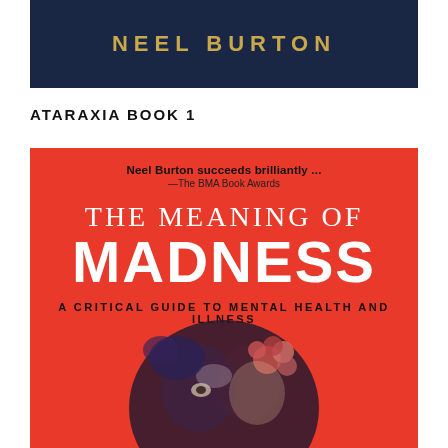[Figure (illustration): Dark navy blue header banner with author name 'NEEL BURTON' in gold spaced letters]
ATARAXIA BOOK 1
[Figure (illustration): Book cover on red background for 'The Meaning of Madness: A Critical Guide to Mental Health and Illness' by Neel Burton, featuring a circular painted illustration of a face with flowers, blurb from BMA Book Awards reading 'Neel Burton succeeds brilliantly...']